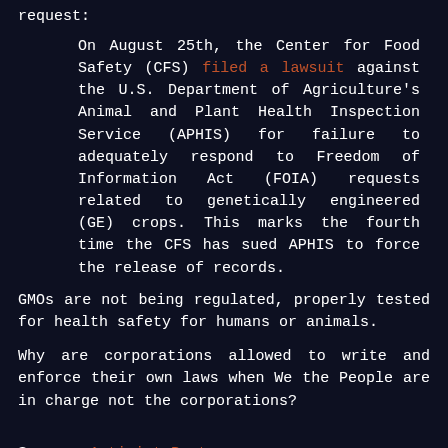request:
On August 25th, the Center for Food Safety (CFS) filed a lawsuit against the U.S. Department of Agriculture's Animal and Plant Health Inspection Service (APHIS) for failure to adequately respond to Freedom of Information Act (FOIA) requests related to genetically engineered (GE) crops. This marks the fourth time the CFS has sued APHIS to force the release of records.
GMOs are not being regulated, properly tested for health safety for humans or animals.
Why are corporations allowed to write and enforce their own laws when We the People are in charge not the corporations?
Source: Activist Post